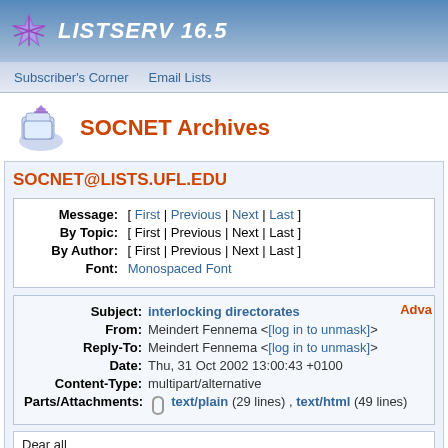LISTSERV 16.5
Subscriber's Corner   Email Lists
SOCNET Archives
SOCNET@LISTS.UFL.EDU
Message: [ First | Previous | Next | Last ]
By Topic: [ First | Previous | Next | Last ]
By Author: [ First | Previous | Next | Last ]
Font: Monospaced Font
Subject: interlocking directorates
From: Meindert Fennema <[log in to unmask]>
Reply-To: Meindert Fennema <[log in to unmask]>
Date: Thu, 31 Oct 2002 13:00:43 +0100
Content-Type: multipart/alternative
Parts/Attachments: text/plain (29 lines) , text/html (49 lines)
Dear all